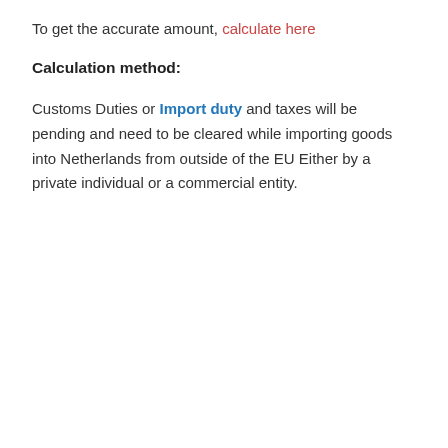To get the accurate amount, calculate here
Calculation method:
Customs Duties or Import duty and taxes will be pending and need to be cleared while importing goods into Netherlands from outside of the EU Either by a private individual or a commercial entity.